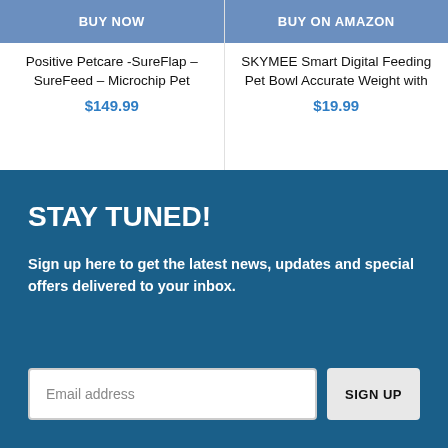BUY NOW
BUY ON AMAZON
Positive Petcare -SureFlap – SureFeed – Microchip Pet
$149.99
SKYMEE Smart Digital Feeding Pet Bowl Accurate Weight with
$19.99
STAY TUNED!
Sign up here to get the latest news, updates and special offers delivered to your inbox.